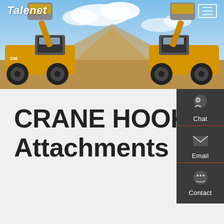Talenet
[Figure (photo): Two large yellow wheel loaders facing each other with raised buckets full of dirt/sand, against a blue sky with clouds and a sandy/rocky terrain background.]
CRANE HOOK - Bressel Und Lade - Attachments For Your Loader